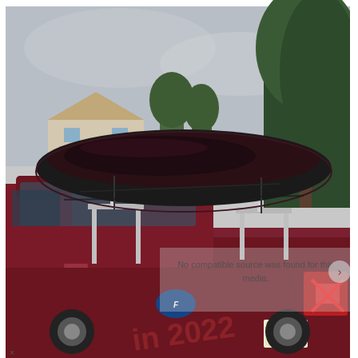[Figure (photo): A dark red/maroon pickup truck (Ford F-150 with 4x4 and Lariat badging) with a kayak rack system mounted over the truck bed. A large dark kayak is secured on the rack with straps. The truck is parked on a residential street with trees and houses in the background under an overcast sky. A watermark overlay reads 'No compatible source was found for this media.' with a red X icon, and there is a watermark in the lower portion reading 'in 2022'.]